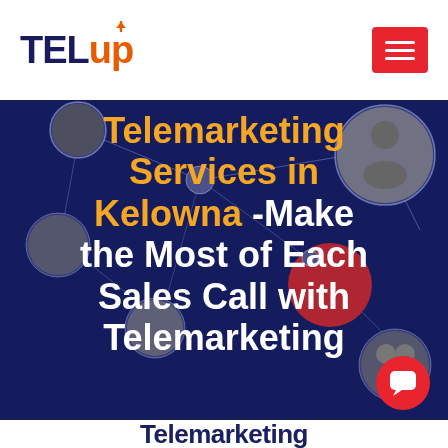[Figure (logo): TelUp logo with dark blue TEL and orange Up text with upward arrow]
[Figure (other): Red hamburger menu button with three white horizontal lines]
[Figure (photo): Hero background with dark blue network/connections graphic showing circles with people photos connected by lines]
Telemarketing Services in Kelowna -Make the Most of Each Sales Call with Telemarketing
[Figure (other): Red circular chat bubble button in bottom right corner]
Telemarketing